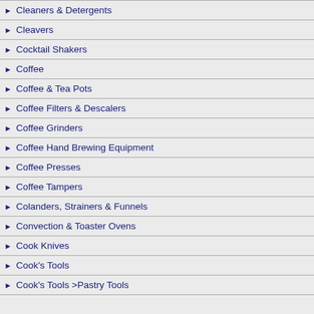Cleaners & Detergents
Cleavers
Cocktail Shakers
Coffee
Coffee & Tea Pots
Coffee Filters & Descalers
Coffee Grinders
Coffee Hand Brewing Equipment
Coffee Presses
Coffee Tampers
Colanders, Strainers & Funnels
Convection & Toaster Ovens
Cook Knives
Cook's Tools
Cook's Tools >Pastry Tools